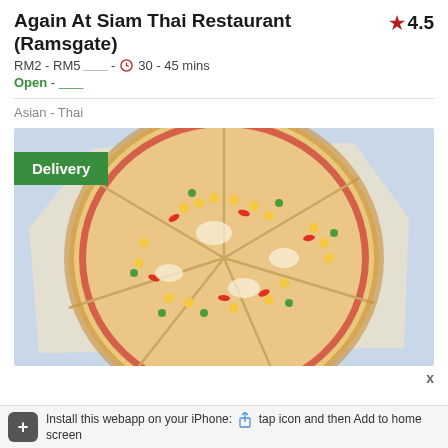Again At Siam Thai Restaurant (Ramsgate)
RM2 - RM5 ���� - ⏰ 30 - 45 mins
Open - ����
Asian - Thai
[Figure (photo): Overhead view of a sliced pizza with corn, red peppers, green herbs, and melted cheese on a light blue background with parchment paper. A green 'Delivery' badge is overlaid in the top-left corner.]
Install this webapp on your iPhone: tap icon and then Add to home screen